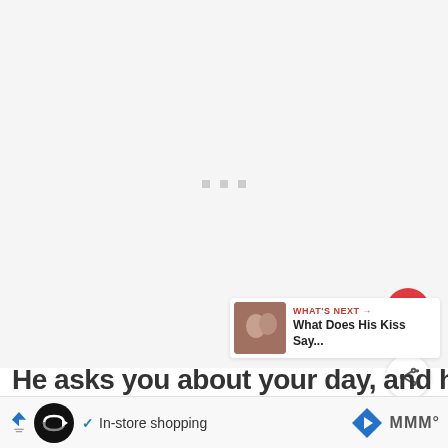[Figure (screenshot): Large light gray content area with three small gray square dots in the center, representing a loading or placeholder image area for a web article]
[Figure (infographic): Red circular like/heart button showing heart icon, with count '1.2K' below it, and a white circular share button beneath that]
[Figure (infographic): What's Next card showing a thumbnail of a couple kissing, with red label 'WHAT'S NEXT →' and title 'What Does His Kiss Say...']
He asks you about your day, and he
[Figure (screenshot): Advertisement bar at bottom: black circle logo with infinity/arrow symbol, checkmark, 'In-store shopping' text, blue diamond navigation icon, and 'MMM°' icon. Also shows 'wants' text partially visible on the right]